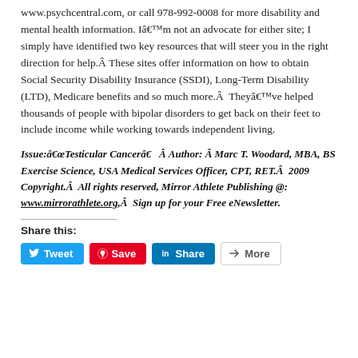www.psychcentral.com, or call 978-992-0008 for more disability and mental health information. Iâ€™m not an advocate for either site; I simply have identified two key resources that will steer you in the right direction for help.Â These sites offer information on how to obtain Social Security Disability Insurance (SSDI), Long-Term Disability (LTD), Medicare benefits and so much more.Â  Theyâ€™ve helped thousands of people with bipolar disorders to get back on their feet to include income while working towards independent living.
Issue:â€œTesticular Cancerâ€   Â Author:  Â Marc T. Woodard, MBA, BS Exercise Science, USA Medical Services Officer, CPT, RET.Â  2009 Copyright.Â  All rights reserved, Mirror Athlete Publishing @: www.mirrorathlete.org,Â  Sign up for your Free eNewsletter.
Share this: